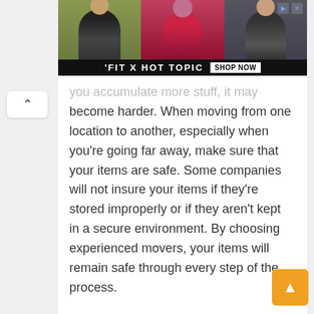[Figure (photo): Advertisement banner for 'FIT X HOT TOPIC' featuring three young people (two men and a woman) with a 'SHOP NOW' button on a dark background.]
you accumulate more stuff, it may become harder. When moving from one location to another, especially when you're going far away, make sure that your items are safe. Some companies will not insure your items if they're stored improperly or if they aren't kept in a secure environment. By choosing experienced movers, your items will remain safe through every step of the process.

Sometimes problems with access or areas that need more equipment than
[Figure (screenshot): Orange scroll-to-top button (▲) in the bottom-right corner of the page.]